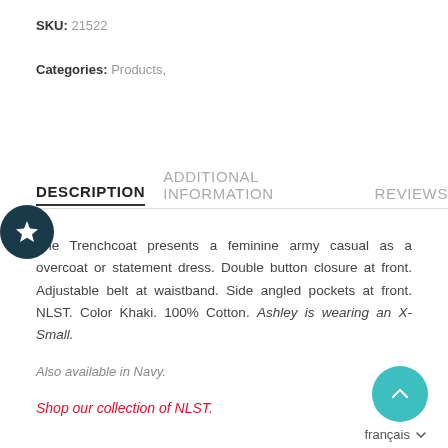SKU: 21522
Categories: Products,
DESCRIPTION  ADDITIONAL INFORMATION  REVIEWS
The Trenchcoat presents a feminine army casual as a overcoat or statement dress. Double button closure at front. Adjustable belt at waistband. Side angled pockets at front. NLST. Color Khaki. 100% Cotton. Ashley is wearing an X-Small.
Also available in Navy.
Shop our collection of NLST.
français